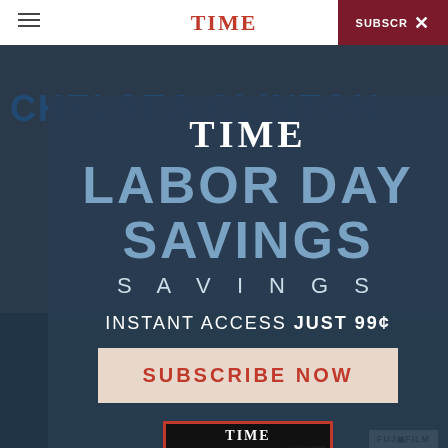TIME — navigation bar with hamburger menu and SUBSCRIBE button
[Figure (screenshot): TIME magazine website screenshot showing a Labor Day Savings subscription modal popup over a background page featuring Chelsea Clinton. The modal shows the TIME logo, 'LABOR DAY SAVINGS', 'INSTANT ACCESS JUST 99¢', and a 'SUBSCRIBE NOW' button. Below the modal is a TIME magazine cover showing 'THE OCEANS ISSUE'. A FUJIFILM banner ad is visible in the background.]